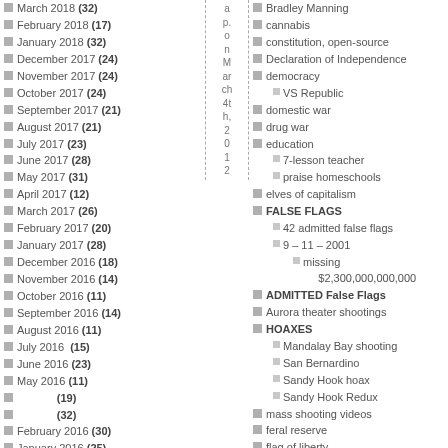March 2018 (32)
February 2018 (17)
January 2018 (32)
December 2017 (24)
November 2017 (24)
October 2017 (24)
September 2017 (21)
August 2017 (21)
July 2017 (23)
June 2017 (28)
May 2017 (31)
April 2017 (12)
March 2017 (26)
February 2017 (20)
January 2017 (28)
December 2016 (18)
November 2016 (14)
October 2016 (11)
September 2016 (14)
August 2016 (11)
July 2016 (15)
June 2016 (23)
May 2016 (11)
(19)
(32)
February 2016 (30)
January 2016 (25)
a p. o n March 4th, 2012
Bradley Manning
cannabis
constitution, open-source
Declaration of Independence
democracy
VS Republic
domestic war
drug war
education
7-lesson teacher
praise homeschools
elves of capitalism
FALSE FLAGS
42 admitted false flags
9 – 11 – 2001
missing $2,300,000,000,000
ADMITTED False Flags
Aurora theater shootings
HOAXES
Mandalay Bay shooting
San Bernardino
Sandy Hook hoax
Sandy Hook Redux
mass shooting videos
feral reserve
flag of liberty
[Figure (illustration): Historical Civil War battle painting overlaid on left archive list column]